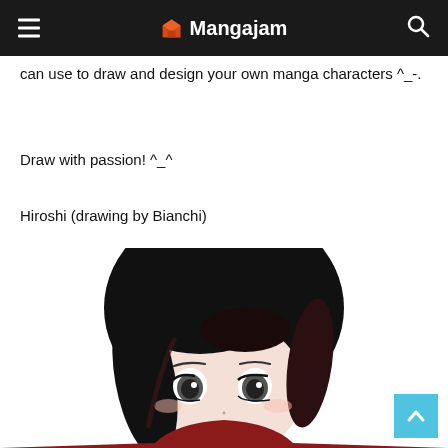Mangajam
can use to draw and design your own manga characters ^_-.
Draw with passion! ^_^
Hiroshi (drawing by Bianchi)
[Figure (illustration): Manga-style illustration of a girl character with black hair, large eyes, and a dark red top, shown from shoulders up]